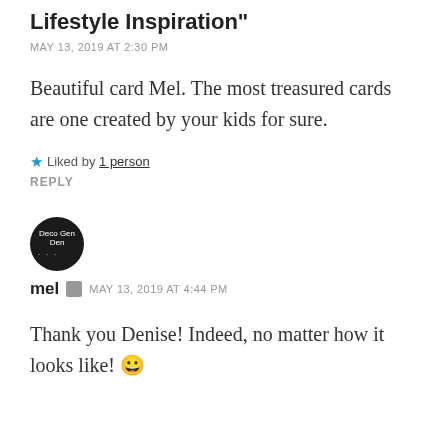Lifestyle Inspiration"
MAY 13, 2019 AT 2:30 PM
Beautiful card Mel. The most treasured cards are one created by your kids for sure.
★ Liked by 1 person
REPLY
[Figure (logo): Circular avatar with dark background showing 'Deco Gen Den' text and dots]
mel  MAY 13, 2019 AT 4:44 PM
Thank you Denise! Indeed, no matter how it looks like! 😀